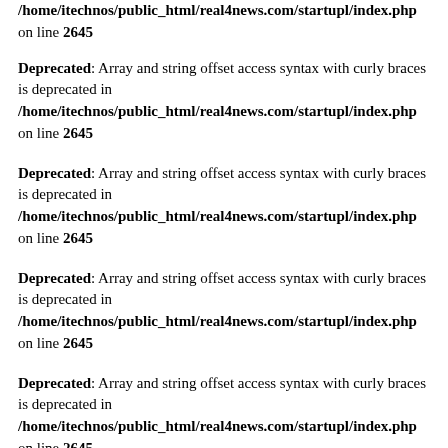/home/itechnos/public_html/real4news.com/startupl/index.php on line 2645
Deprecated: Array and string offset access syntax with curly braces is deprecated in /home/itechnos/public_html/real4news.com/startupl/index.php on line 2645
Deprecated: Array and string offset access syntax with curly braces is deprecated in /home/itechnos/public_html/real4news.com/startupl/index.php on line 2645
Deprecated: Array and string offset access syntax with curly braces is deprecated in /home/itechnos/public_html/real4news.com/startupl/index.php on line 2645
Deprecated: Array and string offset access syntax with curly braces is deprecated in /home/itechnos/public_html/real4news.com/startupl/index.php on line 2645
Deprecated: Array and string offset access syntax with curly braces is deprecated in /home/itechnos/public_html/real4news.com/startupl/index.php